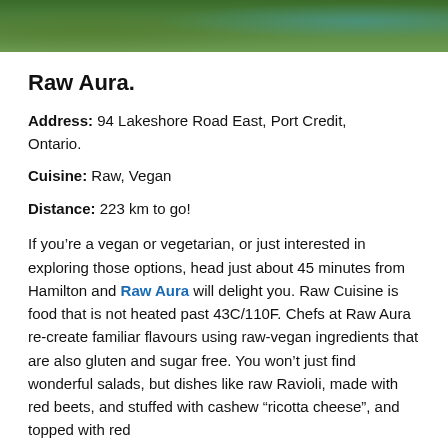[Figure (photo): Partial view of food/nature photo at top of page showing green and teal tones]
Raw Aura.
Address: 94 Lakeshore Road East, Port Credit, Ontario.
Cuisine: Raw, Vegan
Distance: 223 km to go!
If you're a vegan or vegetarian, or just interested in exploring those options, head just about 45 minutes from Hamilton and Raw Aura will delight you. Raw Cuisine is food that is not heated past 43C/110F. Chefs at Raw Aura re-create familiar flavours using raw-vegan ingredients that are also gluten and sugar free. You won't just find wonderful salads, but dishes like raw Ravioli, made with red beets, and stuffed with cashew “ricotta cheese”, and topped with red